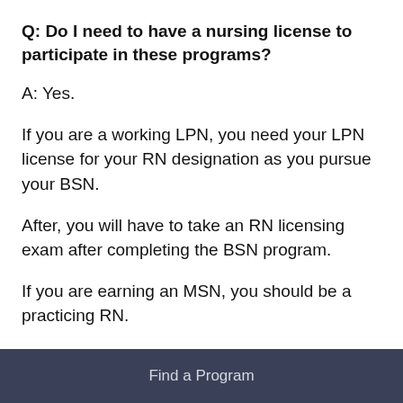Q: Do I need to have a nursing license to participate in these programs?
A: Yes.
If you are a working LPN, you need your LPN license for your RN designation as you pursue your BSN.
After, you will have to take an RN licensing exam after completing the BSN program.
If you are earning an MSN, you should be a practicing RN.
Find a Program